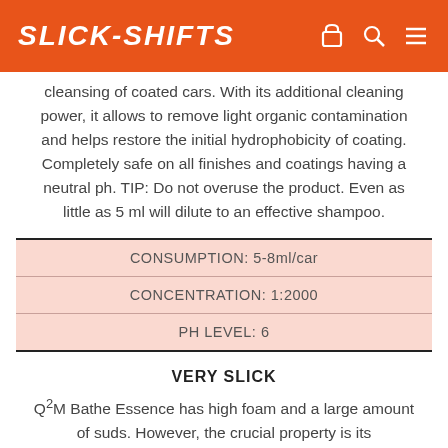SLICK-SHIFTS
cleansing of coated cars. With its additional cleaning power, it allows to remove light organic contamination and helps restore the initial hydrophobicity of coating. Completely safe on all finishes and coatings having a neutral ph. TIP: Do not overuse the product. Even as little as 5 ml will dilute to an effective shampoo.
| CONSUMPTION: 5-8ml/car |
| CONCENTRATION: 1:2000 |
| PH LEVEL: 6 |
VERY SLICK
Q²M Bathe Essence has high foam and a large amount of suds. However, the crucial property is its